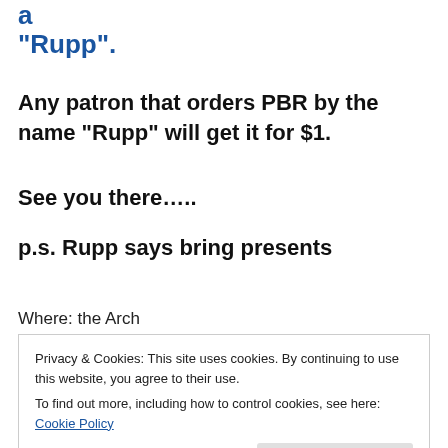a
"Rupp".
Any patron that orders PBR by the name "Rupp" will get it for $1.
See you there…..
p.s. Rupp says bring presents
Where: the Arch
Privacy & Cookies: This site uses cookies. By continuing to use this website, you agree to their use.
To find out more, including how to control cookies, see here: Cookie Policy